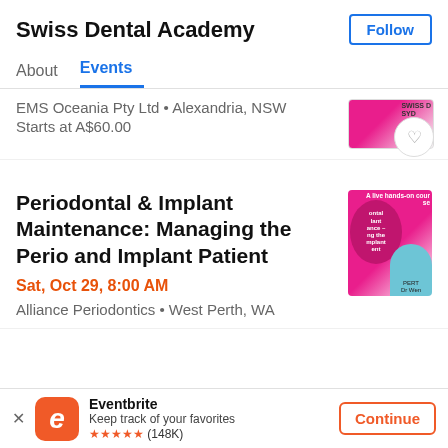Swiss Dental Academy
Follow
About  Events
EMS Oceania Pty Ltd • Alexandria, NSW
Starts at A$60.00
Periodontal & Implant Maintenance: Managing the Perio and Implant Patient
Sat, Oct 29, 8:00 AM
Alliance Periodontics • West Perth, WA
Eventbrite
Keep track of your favorites
★★★★★ (148K)
Continue